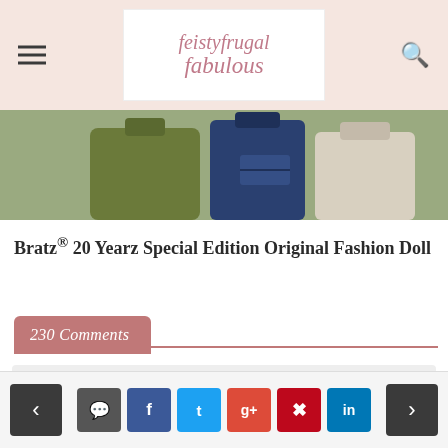feistyfrugalfabulous - blog header with logo, hamburger menu, and search icon
[Figure (photo): Cropped image of fashion bags including olive green, denim blue, and cream/beige bags]
Bratz® 20 Yearz Special Edition Original Fashion Doll
230 Comments
Click here to post a comment
Navigation bar with left/right arrows and social share buttons: comment, Facebook, Twitter, Google+, Pinterest, LinkedIn